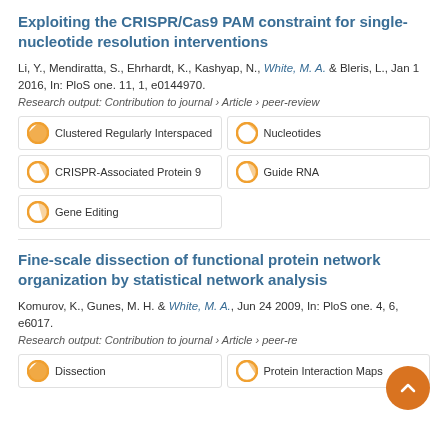Exploiting the CRISPR/Cas9 PAM constraint for single-nucleotide resolution interventions
Li, Y., Mendiratta, S., Ehrhardt, K., Kashyap, N., White, M. A. & Bleris, L., Jan 1 2016, In: PloS one. 11, 1, e0144970.
Research output: Contribution to journal › Article › peer-review
Clustered Regularly Interspaced
Nucleotides
CRISPR-Associated Protein 9
Guide RNA
Gene Editing
Fine-scale dissection of functional protein network organization by statistical network analysis
Komurov, K., Gunes, M. H. & White, M. A., Jun 24 2009, In: PloS one. 4, 6, e6017.
Research output: Contribution to journal › Article › peer-review
Dissection
Protein Interaction Maps